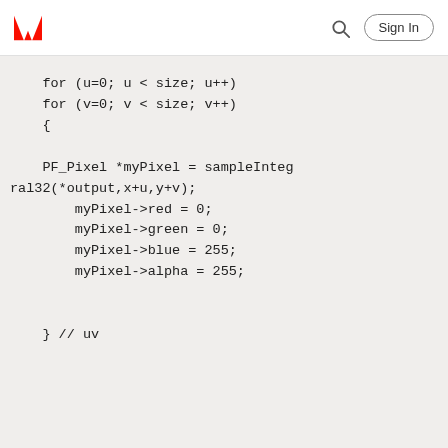Adobe | Sign In
for (u=0; u < size; u++)
    for (v=0; v < size; v++)
    {

    PF_Pixel *myPixel = sampleIntegral32(*output,x+u,y+v);
        myPixel->red = 0;
        myPixel->green = 0;
        myPixel->blue = 255;
        myPixel->alpha = 255;


    } // uv